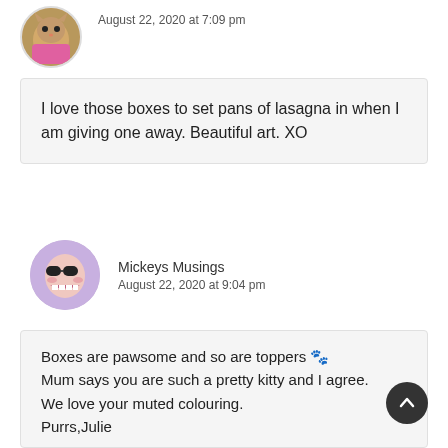[Figure (photo): Circular avatar image showing a cat in pink/colorful clothing]
August 22, 2020 at 7:09 pm
I love those boxes to set pans of lasagna in when I am giving one away. Beautiful art. XO
[Figure (illustration): Circular avatar image showing a cartoon character with sunglasses and teeth, purple background]
Mickeys Musings
August 22, 2020 at 9:04 pm
Boxes are pawsome and so are toppers 🐾 Mum says you are such a pretty kitty and I agree.
We love your muted colouring.
Purrs,Julie